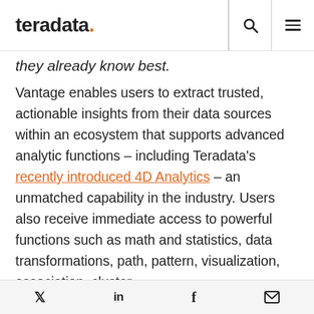teradata. [search icon] [menu icon]
they already know best.
Vantage enables users to extract trusted, actionable insights from their data sources within an ecosystem that supports advanced analytic functions – including Teradata's recently introduced 4D Analytics – an unmatched capability in the industry. Users also receive immediate access to powerful functions such as math and statistics, data transformations, path, pattern, visualization, association, cluster,
Twitter LinkedIn Facebook Email